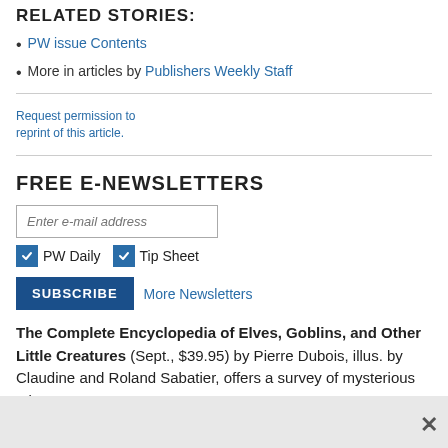RELATED STORIES:
PW issue Contents
More in articles by Publishers Weekly Staff
Request permission to reprint of this article.
FREE E-NEWSLETTERS
Enter e-mail address
PW Daily  Tip Sheet
SUBSCRIBE  More Newsletters
The Complete Encyclopedia of Elves, Goblins, and Other Little Creatures (Sept., $39.95) by Pierre Dubois, illus. by Claudine and Roland Sabatier, offers a survey of mysterious critters.